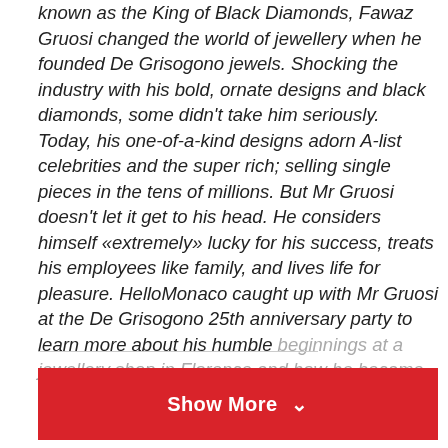known as the King of Black Diamonds, Fawaz Gruosi changed the world of jewellery when he founded De Grisogono jewels. Shocking the industry with his bold, ornate designs and black diamonds, some didn't take him seriously. Today, his one-of-a-kind designs adorn A-list celebrities and the super rich; selling single pieces in the tens of millions. But Mr Gruosi doesn't let it get to his head. He considers himself «extremely» lucky for his success, treats his employees like family, and lives life for pleasure. HelloMonaco caught up with Mr Gruosi at the De Grisogono 25th anniversary party to learn more about his humble beginnings at a jewellery shop in Florence and how he became the most prestigious and exclusive jewellery designer in the world.
Show More